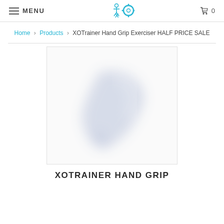MENU | XO logo | 0 (cart)
Home > Products > XOTrainer Hand Grip Exerciser HALF PRICE SALE
[Figure (photo): Product image of XOTrainer Hand Grip Exerciser shown as a faded/blurred blue-grey grip device on white background]
XOTRAINER HAND GRIP